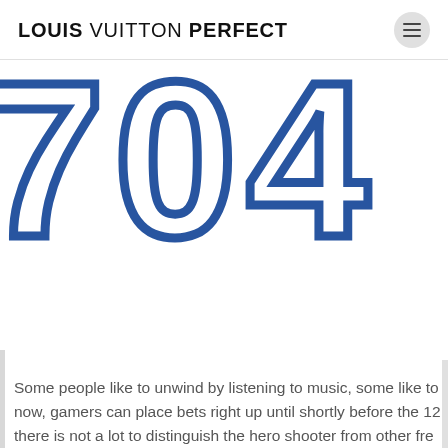LOUIS VUITTON PERFECT
[Figure (other): Large bold outlined blue numerals '704' partially cropped, displayed as a 404-error style graphic on a white background]
Some people like to unwind by listening to music, some like to now, gamers can place bets right up until shortly before the 12 there is not a lot to distinguish the hero shooter from other fre